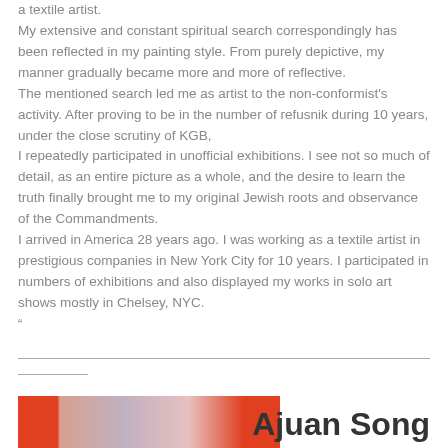a textile artist.
My extensive and constant spiritual search correspondingly has been reflected in my painting style. From purely depictive, my manner gradually became more and more of reflective.
The mentioned search led me as artist to the non-conformist's activity. After proving to be in the number of refusnik during 10 years, under the close scrutiny of KGB,
I repeatedly participated in unofficial exhibitions. I see not so much of detail, as an entire picture as a whole, and the desire to learn the truth finally brought me to my original Jewish roots and observance of the Commandments.
I arrived in America 28 years ago. I was working as a textile artist in prestigious companies in New York City for 10 years. I participated in numbers of exhibitions and also displayed my works in solo art shows mostly in Chelsey, NYC.
"
[Figure (photo): Photo of Ajuan Song, appears to show a person in pink/pastel tones with red/orange borders on left and right sides]
Ajuan Song